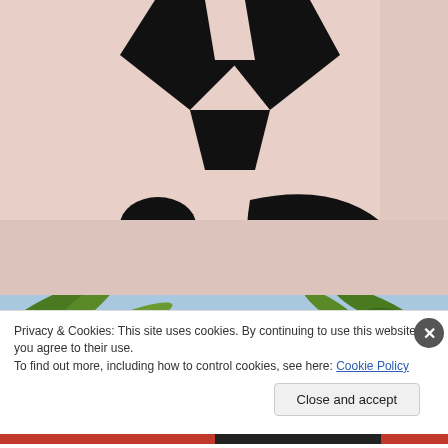[Figure (photo): Close-up of a white sculptural object with X-shaped and oval cutouts, reminiscent of a ghostface mask, with pinkish-white surface and dark shadows inside the openings.]
[Figure (photo): Partial view of palm trees and blue sky, visible in a strip below the main image.]
Privacy & Cookies: This site uses cookies. By continuing to use this website, you agree to their use.
To find out more, including how to control cookies, see here: Cookie Policy
Close and accept